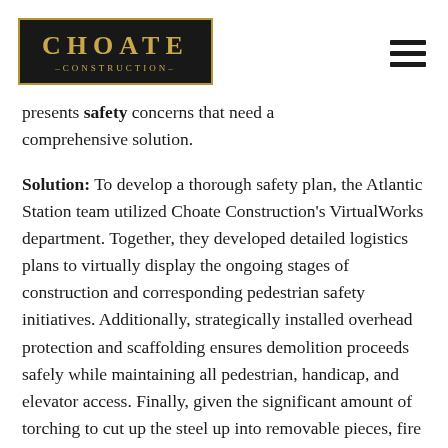[Figure (logo): Choate Construction logo: dark background box with gold border, gold text CHOATE and -CONSTRUCTION- subtitle]
presents safety concerns that need a comprehensive solution.
Solution: To develop a thorough safety plan, the Atlantic Station team utilized Choate Construction's VirtualWorks department. Together, they developed detailed logistics plans to virtually display the ongoing stages of construction and corresponding pedestrian safety initiatives. Additionally, strategically installed overhead protection and scaffolding ensures demolition proceeds safely while maintaining all pedestrian, handicap, and elevator access. Finally, given the significant amount of torching to cut up the steel up into removable pieces, fire blankets and barricades ensure the surrounding equipment is protected